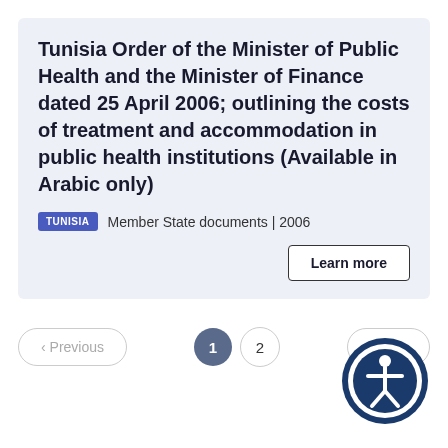Tunisia Order of the Minister of Public Health and the Minister of Finance dated 25 April 2006; outlining the costs of treatment and accommodation in public health institutions (Available in Arabic only)
TUNISIA   Member State documents | 2006
Learn more
< Previous   1   2   Next >